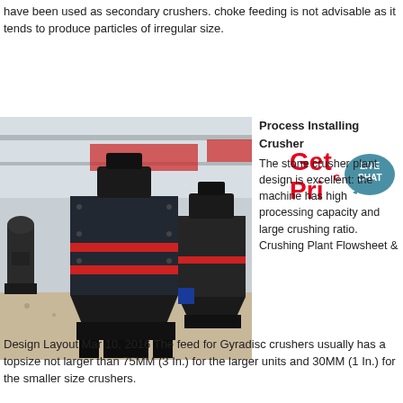have been used as secondary crushers. choke feeding is not advisable as it tends to produce particles of irregular size.
[Figure (other): Live Chat button with 'Get Price' text in red and a teal speech bubble icon labeled LIVE CHAT]
[Figure (photo): Industrial stone crusher machines in a factory setting. Large dark/black cone crusher machines on gravel floor inside a warehouse with red banner decorations.]
Process Installing Crusher
The stone crusher plant design is excellent: the machine has high processing capacity and large crushing ratio. Crushing Plant Flowsheet & Design Layout Mar 10, 2016 The feed for Gyradisc crushers usually has a topsize not larger than 75MM (3 In.) for the larger units and 30MM (1 In.) for the smaller size crushers.
Design Layout Mar 10, 2016 The feed for Gyradisc crushers usually has a topsize not larger than 75MM (3 In.) for the larger units and 30MM (1 In.) for the smaller size crushers.